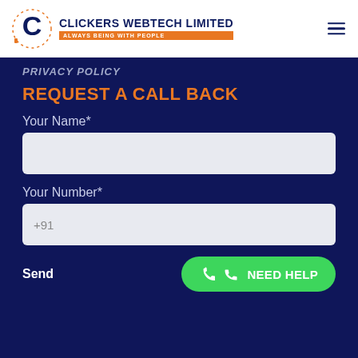CLICKERS WEBTECH LIMITED | ALWAYS BEING WITH PEOPLE
PRIVACY POLICY
REQUEST A CALL BACK
Your Name*
Your Number*
Send
NEED HELP